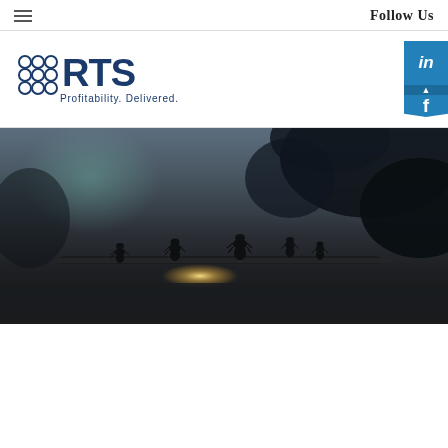Follow Us
[Figure (logo): RTS logo with dot grid and tagline: Profitability. Delivered.]
[Figure (photo): Dark atmospheric photograph of ants silhouetted on a branch/wire against a blurred background with light flare]
How a Nest of Ants